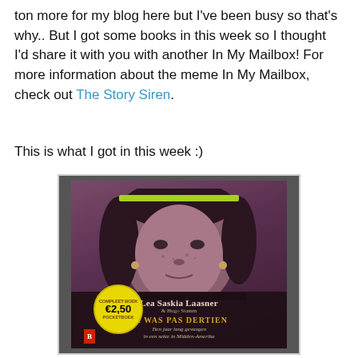ton more for my blog here but I've been busy so that's why.. But I got some books in this week so I thought I'd share it with you with another In My Mailbox! For more information about the meme In My Mailbox, check out The Story Siren.
This is what I got in this week :)
[Figure (photo): Photo of a book: 'Ik Was Pas Dertien' by Lea Saskia Laasner & Hugo Stamm. The book cover shows a young woman's face in purple/mauve tones, a yellow price sticker showing €2,50, and a dark title bar at the bottom with the author name and title.]